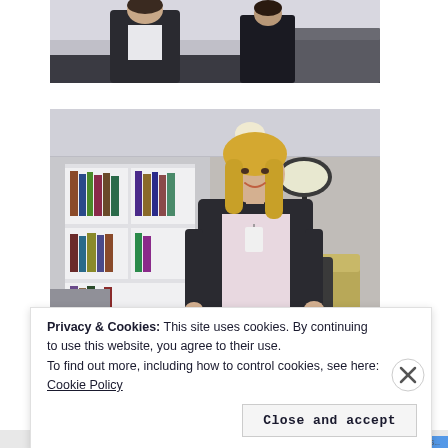[Figure (photo): Top portion of a photo showing a person in a black jacket and white shirt, cropped at upper body]
[Figure (photo): Photo of a smiling blonde woman standing in a modern room with white bookshelves containing books, a floor lamp on the right, and a leather chair in the background. She is wearing a black cardigan over a light pink shirt with a lanyard/badge.]
[Figure (photo): Partial view of a third photo, showing a dark grey/blue strip at the bottom]
Privacy & Cookies: This site uses cookies. By continuing to use this website, you agree to their use.
To find out more, including how to control cookies, see here: Cookie Policy
Close and accept